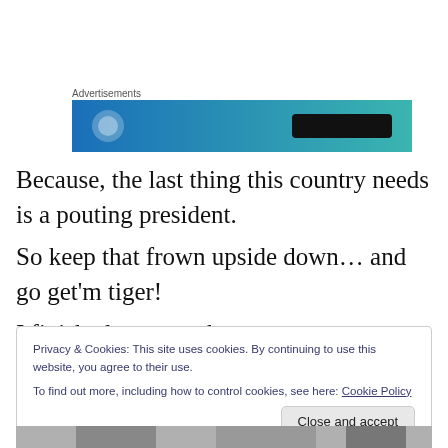[Figure (other): Advertisement banner with blue-teal gradient background, a circular icon on the left and a dark rectangle on the right]
Because, the last thing this country needs is a pouting president.
So keep that frown upside down… and go get'm tiger!

I finished my scotch.
Privacy & Cookies: This site uses cookies. By continuing to use this website, you agree to their use.
To find out more, including how to control cookies, see here: Cookie Policy
Close and accept